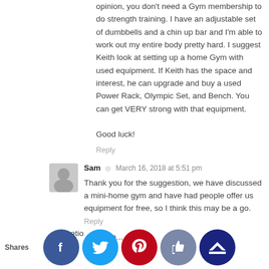opinion, you don't need a Gym membership to do strength training. I have an adjustable set of dumbbells and a chin up bar and I'm able to work out my entire body pretty hard. I suggest Keith look at setting up a home Gym with used equipment. If Keith has the space and interest, he can upgrade and buy a used Power Rack, Olympic Set, and Bench. You can get VERY strong with that equipment.

Good luck!
Reply
Sam · March 16, 2018 at 5:51 pm
Thank you for the suggestion, we have discussed a mini-home gym and have had people offer us equipment for free, so I think this may be a go.
Reply
[Figure (photo): Avatar photo of Ms. Frugal Asian Finance - sunflower image]
Ms. Frugal Asian Finance · March 16, 2018 at 8:57 am
Thank you for sharing your story. I think there are many areas in your budget where you can cut or reduce:
– discretionary food, dining, Gym
– car fun, gets mo...
Shares
[Figure (infographic): Social share buttons: Facebook (blue), Twitter (light blue), Pinterest (red), Like/thumbs up (grey-blue), Crown (dark blue)]